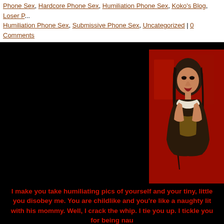Phone Sex, Hardcore Phone Sex, Humiliation Phone Sex, Koko's Blog, Loser Phone Sex, Humiliation Phone Sex, Submissive Phone Sex, Uncategorized | 0 Comments
[Figure (photo): Photo of a dark-haired woman in a fur-trimmed outfit against a red background]
I make you take humiliating pics of yourself and your tiny, little ... you disobey me. You are childlike and you're like a naughty lit... with his mommy. Well, I crack the whip. I tie you up. I tickle you... for being nau...